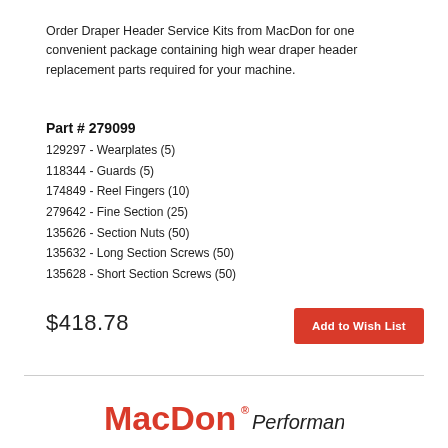Order Draper Header Service Kits from MacDon for one convenient package containing high wear draper header replacement parts required for your machine.
Part # 279099
129297 - Wearplates (5)
118344 - Guards (5)
174849 - Reel Fingers (10)
279642 - Fine Section (25)
135626 - Section Nuts (50)
135632 - Long Section Screws (50)
135628 - Short Section Screws (50)
$418.78
[Figure (logo): MacDon Performance Parts logo with red MacDon text and italic black Performance Parts text]